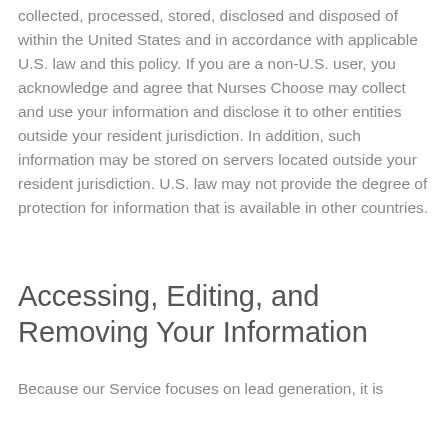collected, processed, stored, disclosed and disposed of within the United States and in accordance with applicable U.S. law and this policy. If you are a non-U.S. user, you acknowledge and agree that Nurses Choose may collect and use your information and disclose it to other entities outside your resident jurisdiction. In addition, such information may be stored on servers located outside your resident jurisdiction. U.S. law may not provide the degree of protection for information that is available in other countries.
Accessing, Editing, and Removing Your Information
Because our Service focuses on lead generation, it is